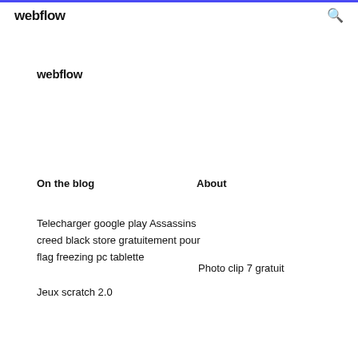webflow
webflow
On the blog
About
Telecharger google play Assassins creed black store gratuitement pour flag freezing pc tablette
Photo clip 7 gratuit
Jeux scratch 2.0